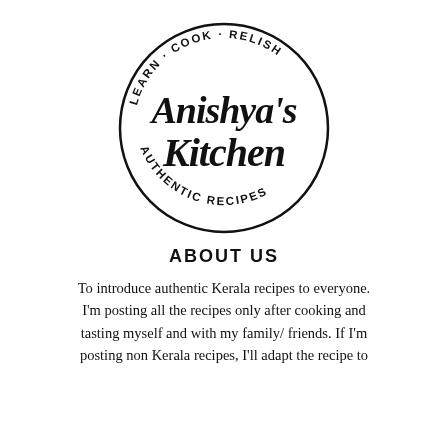[Figure (logo): Anishya's Kitchen logo — circular badge with script text 'Anishya's Kitchen' in the center, and curved text reading 'LEARN · COOK · RELISH' on the top arc and 'AUTHENTIC RECIPES' on the bottom arc]
ABOUT US
To introduce authentic Kerala recipes to everyone. I'm posting all the recipes only after cooking and tasting myself and with my family/ friends. If I'm posting non Kerala recipes, I'll adapt the recipe to